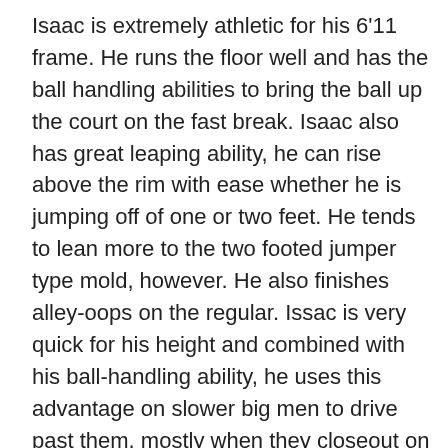Isaac is extremely athletic for his 6'11 frame. He runs the floor well and has the ball handling abilities to bring the ball up the court on the fast break. Isaac also has great leaping ability, he can rise above the rim with ease whether he is jumping off of one or two feet. He tends to lean more to the two footed jumper type mold, however. He also finishes alley-oops on the regular. Issac is very quick for his height and combined with his ball-handling ability, he uses this advantage on slower big men to drive past them, mostly when they closeout on him. A disadvantage Isaac has athletically is his strength. His upper body is very thin, which stops him from being able to get all the way to the basket when someone makes contact with him. It also diminishes his finishing ability in the lane. A lot of times he settles for turn around jumpers after someone bumps him instead of taking it all the way to the hoop.